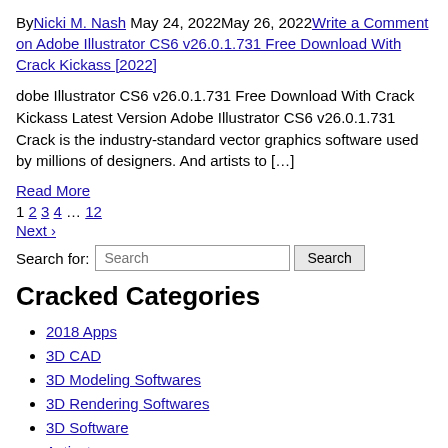By Nicki M. Nash May 24, 2022May 26, 2022 Write a Comment on Adobe Illustrator CS6 v26.0.1.731 Free Download With Crack Kickass [2022]
dobe Illustrator CS6 v26.0.1.731 Free Download With Crack Kickass Latest Version Adobe Illustrator CS6 v26.0.1.731 Crack is the industry-standard vector graphics software used by millions of designers. And artists to […]
Read More
1 2 3 4 … 12
Next ›
Search for: Search
Cracked Categories
2018 Apps
3D CAD
3D Modeling Softwares
3D Rendering Softwares
3D Software
Activator
Activators
Adobe